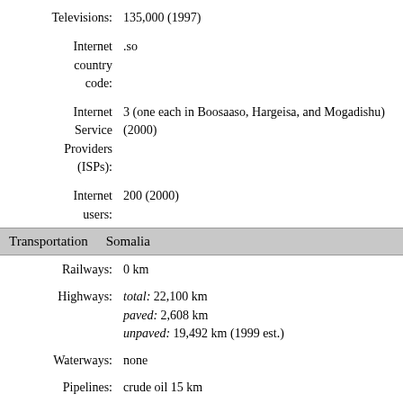Televisions: 135,000 (1997)
Internet country code: .so
Internet Service Providers (ISPs): 3 (one each in Boosaaso, Hargeisa, and Mogadishu) (2000)
Internet users: 200 (2000)
Transportation   Somalia
Railways: 0 km
Highways: total: 22,100 km paved: 2,608 km unpaved: 19,492 km (1999 est.)
Waterways: none
Pipelines: crude oil 15 km
Ports and harbors: Boosaaso, Berbera, Chisimayu (Kismaayo), Merca, Mogadishu